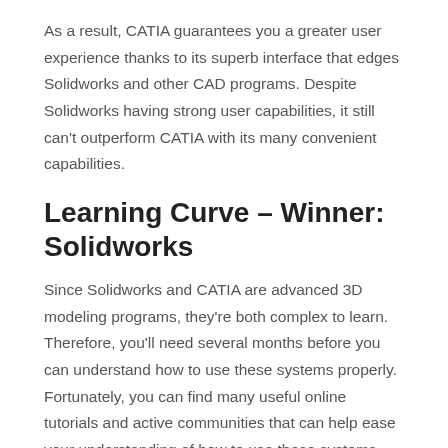As a result, CATIA guarantees you a greater user experience thanks to its superb interface that edges Solidworks and other CAD programs. Despite Solidworks having strong user capabilities, it still can't outperform CATIA with its many convenient capabilities.
Learning Curve – Winner: Solidworks
Since Solidworks and CATIA are advanced 3D modeling programs, they're both complex to learn. Therefore, you'll need several months before you can understand how to use these systems properly. Fortunately, you can find many useful online tutorials and active communities that can help ease your understanding of how to use these systems.
With that said, CATIA is a lot more complicated to learn than Solidworks. And to make things worse, there aren't many online tutorials that can ease the transition to these 3D modeling